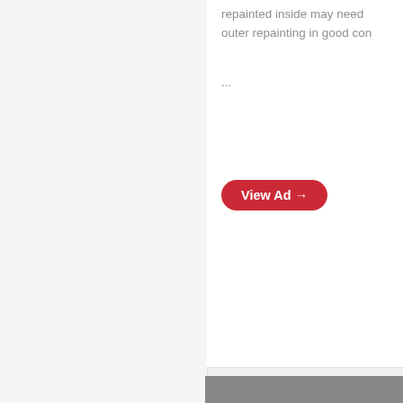repainted inside may need outer repainting in good con...
...
View Ad →
[Figure (screenshot): A wireframe/mockup illustration of an e-commerce product page on a monitor, shown in gray tones. Features a t-shirt product image with navigation arrows, text placeholder bars on the right, a red circular alert/notification icon at top-left, and a white heart icon at top-right. The monitor sits on a stand.]